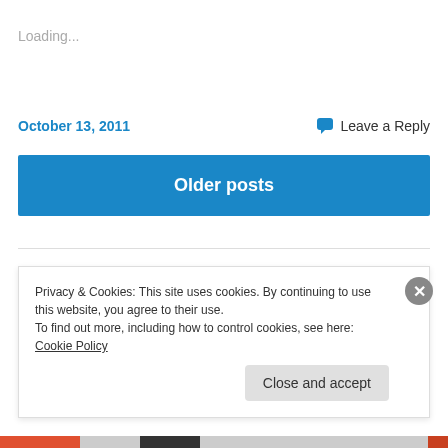Loading...
October 13, 2011
Leave a Reply
Older posts
[Figure (logo): Teal/green wavy cloud-like logo shape]
Privacy & Cookies: This site uses cookies. By continuing to use this website, you agree to their use.
To find out more, including how to control cookies, see here: Cookie Policy
Close and accept